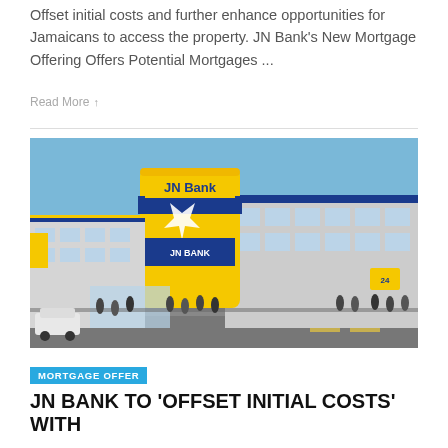Offset initial costs and further enhance opportunities for Jamaicans to access the property. JN Bank's New Mortgage Offering Offers Potential Mortgages ...
Read More ↑
[Figure (photo): Exterior photo of a JN Bank branch building with yellow cylindrical tower bearing the JN Bank logo and branding, blue trim, large windows, people walking on the sidewalk in front, and a street scene with cars.]
MORTGAGE OFFER
JN BANK TO 'OFFSET INITIAL COSTS' WITH